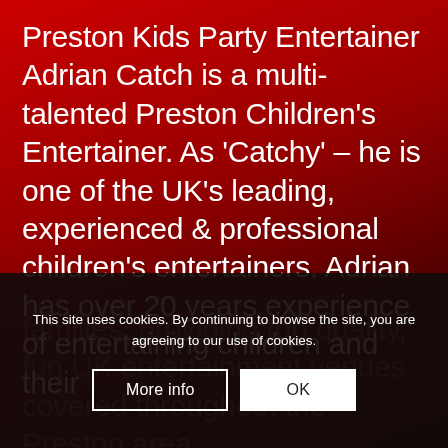Preston Kids Party Entertainer Adrian Catch is a multi-talented Preston Children's Entertainer. As 'Catchy' – he is one of the UK's leading, experienced & professional children's entertainers. Adrian has over 20 years experience of entertaining children and their
families, providing top quality, fun UK entertainment venues covered throughout the Preston area.
This site uses cookies. By continuing to browse the site, you are agreeing to our use of cookies.